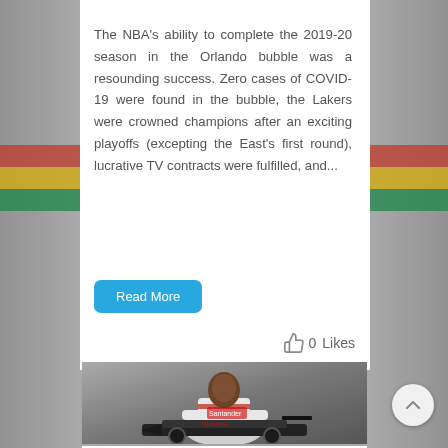The NBA's ability to complete the 2019-20 season in the Orlando bubble was a resounding success. Zero cases of COVID-19 were found in the bubble, the Lakers were crowned champions after an exciting playoffs (excepting the East's first round), lucrative TV contracts were fulfilled, and...
Read More
0  Likes
[Figure (photo): Lewis Hamilton in McLaren F1 racing suit sitting in front of a Formula 1 car]
Lewis Hamilton is world best